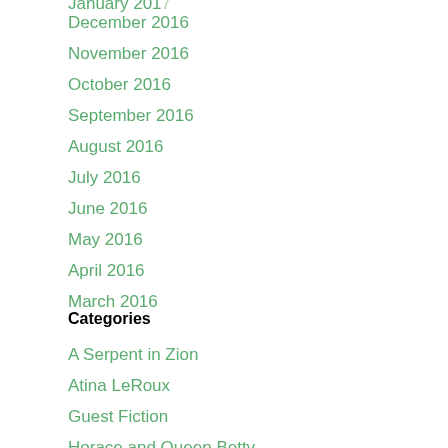December 2016
November 2016
October 2016
September 2016
August 2016
July 2016
June 2016
May 2016
April 2016
March 2016
Categories
A Serpent in Zion
Atina LeRoux
Guest Fiction
Horace and Queen Betty